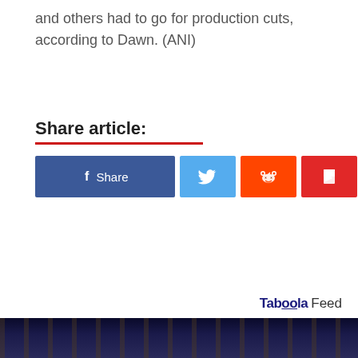and others had to go for production cuts, according to Dawn. (ANI)
Share article:
[Figure (infographic): Social share buttons: Facebook Share, Twitter, Reddit, Flipboard, Email]
Taboola Feed
[Figure (photo): Dark nightclub or event venue interior image at bottom of page]